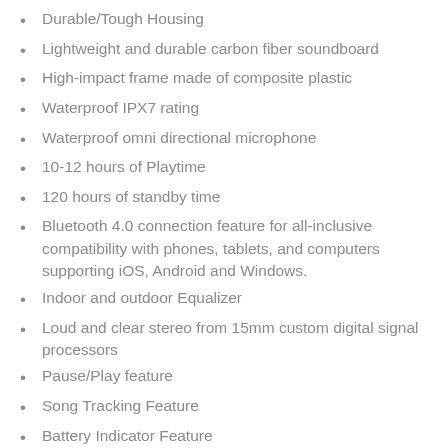Durable/Tough Housing
Lightweight and durable carbon fiber soundboard
High-impact frame made of composite plastic
Waterproof IPX7 rating
Waterproof omni directional microphone
10-12 hours of Playtime
120 hours of standby time
Bluetooth 4.0 connection feature for all-inclusive compatibility with phones, tablets, and computers supporting iOS, Android and Windows.
Indoor and outdoor Equalizer
Loud and clear stereo from 15mm custom digital signal processors
Pause/Play feature
Song Tracking Feature
Battery Indicator Feature